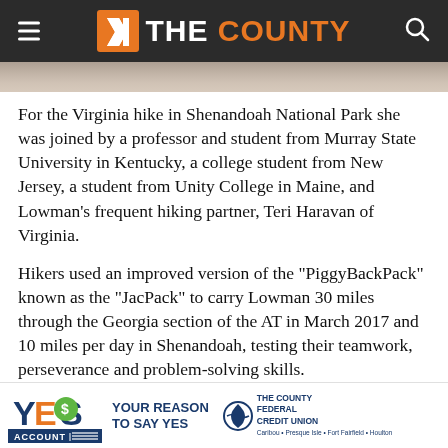THE COUNTY
For the Virginia hike in Shenandoah National Park she was joined by a professor and student from Murray State University in Kentucky, a college student from New Jersey, a student from Unity College in Maine, and Lowman's frequent hiking partner, Teri Haravan of Virginia.
Hikers used an improved version of the “PiggyBackPack” known as the “JacPack” to carry Lowman 30 miles through the Georgia section of the AT in March 2017 and 10 miles per day in Shenandoah, testing their teamwork, perseverance and problem-solving skills.
[Figure (logo): YES Account logo and Your Reason To Say Yes and The County Federal Credit Union advertisement banner at the bottom of the page]
“It b... whe...